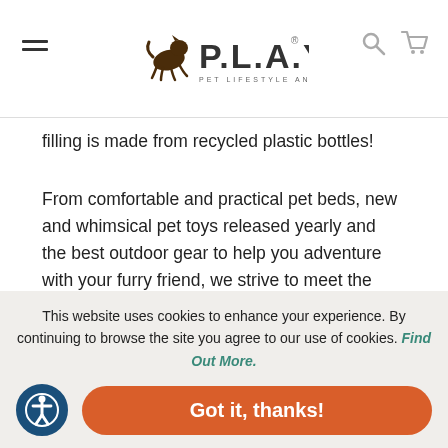P.L.A.Y. Pet Lifestyle and You — navigation header
filling is made from recycled plastic bottles!
From comfortable and practical pet beds, new and whimsical pet toys released yearly and the best outdoor gear to help you adventure with your furry friend, we strive to meet the needs of modern pet parents. With exclusive designs created by artists around the world, we deliver a look and feel that will leave tails wagging and wallets intact.
This website uses cookies to enhance your experience. By continuing to browse the site you agree to our use of cookies. Find Out More.
Got it, thanks!